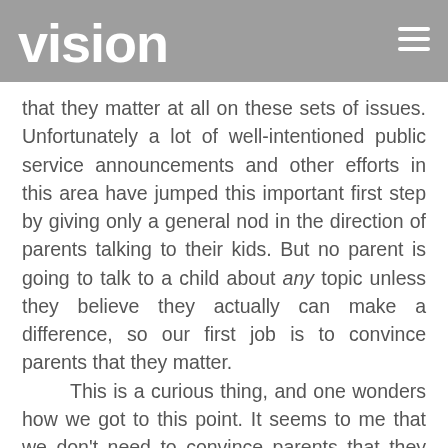vision
that they matter at all on these sets of issues. Unfortunately a lot of well-intentioned public service announcements and other efforts in this area have jumped this important first step by giving only a general nod in the direction of parents talking to their kids. But no parent is going to talk to a child about any topic unless they believe they actually can make a difference, so our first job is to convince parents that they matter.
	This is a curious thing, and one wonders how we got to this point. It seems to me that we don't need to convince parents that they matter in areas like education or in developing good eating habits or any of a number of other issues. Why is it that we need to convince parents on this very important topic?